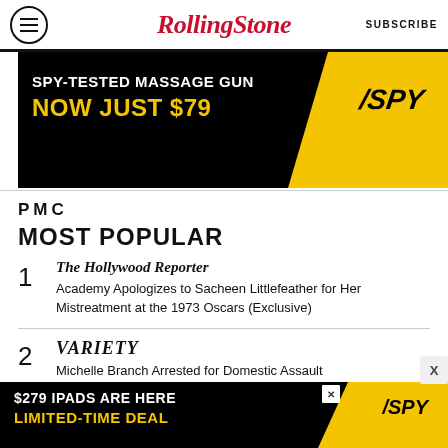RollingStone  SUBSCRIBE
[Figure (infographic): SPY advertisement banner: 'SPY-TESTED MASSAGE GUN NOW JUST $79' on black background with yellow diagonal section and SPY logo]
[Figure (logo): PMC logo text]
MOST POPULAR
1  The Hollywood Reporter — Academy Apologizes to Sacheen Littlefeather for Her Mistreatment at the 1973 Oscars (Exclusive)
2  Variety — Michelle Branch Arrested for Domestic Assault
[Figure (infographic): SPY advertisement banner: '$279 IPADS ARE HERE LIMITED-TIME DEAL' on black background with yellow diagonal section and SPY logo]